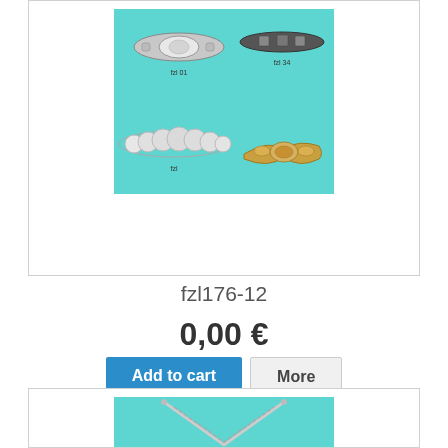[Figure (photo): Jewelry brooches/clasps displayed on teal background, showing 4 ornamental pieces with crystals and gems]
fzl176-12
0,00 €
Add to cart
More
+ Add to Compare
[Figure (photo): Jewelry necklace/chain displayed on teal background, partially visible]